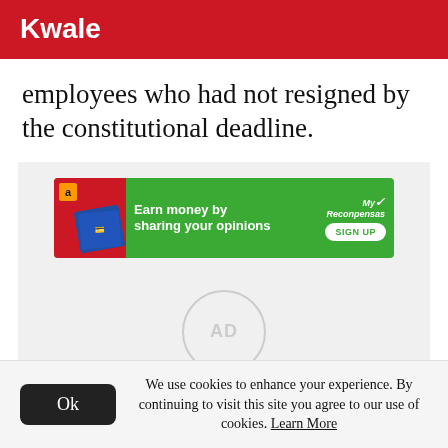Kwale
employees who had not resigned by the constitutional deadline.
[Figure (other): Advertisement banner: green background with text 'Earn money by sharing your opinions' and a SIGN UP button. MyReconpensas brand logo on right.]
[Figure (other): AD placeholder circle in a light grey box]
We use cookies to enhance your experience. By continuing to visit this site you agree to our use of cookies. Learn More